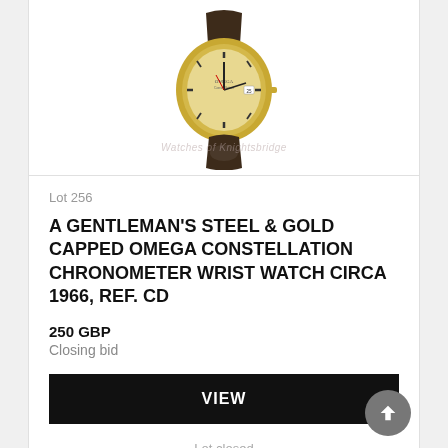[Figure (photo): Photograph of a gentleman's steel and gold capped Omega Constellation chronometer wrist watch with brown leather strap and cream dial, circa 1966. Watermark reads 'Watches of Knightsbridge'.]
Lot 256
A GENTLEMAN'S STEEL & GOLD CAPPED OMEGA CONSTELLATION CHRONOMETER WRIST WATCH CIRCA 1966, REF. CD
250 GBP
Closing bid
VIEW
Lot closed
Lot location: London